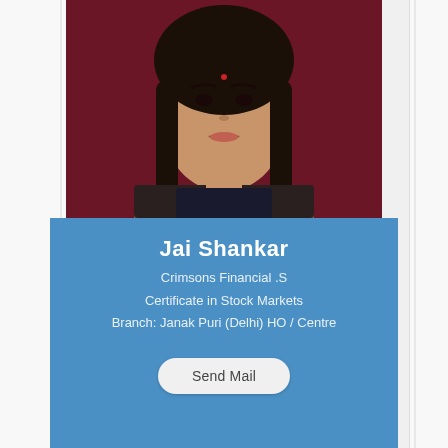[Figure (photo): Passport-style photo of a young woman with long dark hair against a dark red background]
Jai Shankar
Crimsons Financial .S
Certificate in Stock Markets
Branch: Janak Puri (Delhi) HO / Centre
Send Mail
[Figure (photo): Passport-style photo of a man with short dark hair against a dark red background, partially visible at bottom of page]